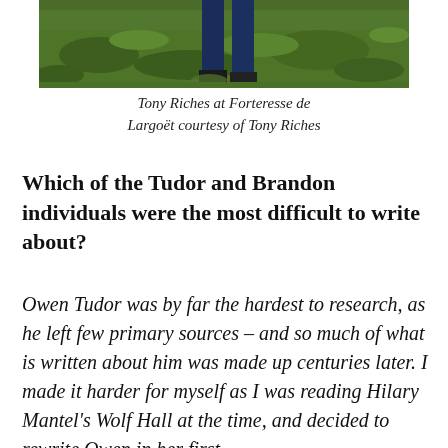[Figure (photo): Tony Riches walking on grass at Forteresse de Largoët — bottom portion of photo visible, showing green grass and lower body of person in jeans]
Tony Riches at Forteresse de Largoët courtesy of Tony Riches
Which of the Tudor and Brandon individuals were the most difficult to write about?
Owen Tudor was by far the hardest to research, as he left few primary sources – and so much of what is written about him was made up centuries later. I made it harder for myself as I was reading Hilary Mantel's Wolf Hall at the time, and decided to rewrite Owen in her first